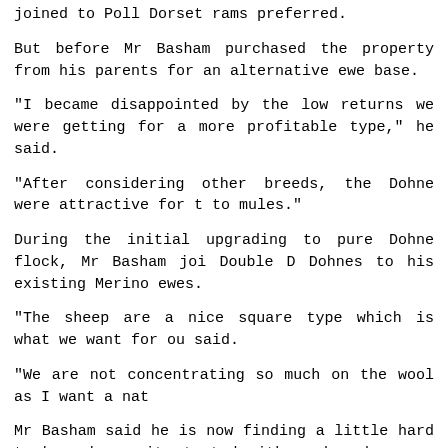joined to Poll Dorset rams preferred.
But before Mr Basham purchased the property from his parents for an alternative ewe base.
“I became disappointed by the low returns we were getting for a more profitable type,” he said.
“After considering other breeds, the Dohne were attractive for to mules.”
During the initial upgrading to pure Dohne flock, Mr Basham joi Double D Dohnes to his existing Merino ewes.
“The sheep are a nice square type which is what we want for ou said.
“We are not concentrating so much on the wool as I want a nat
Mr Basham said he is now finding a little hard to buy sheep wit started with as breeders are increasing the wool cut.
“We are cutting five kilograms fleece across the whole flock me said.
“I think that is very good considering we have averaged above